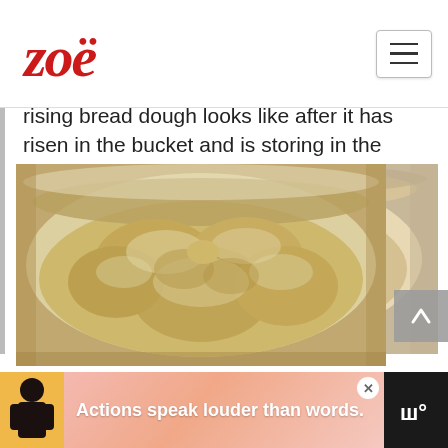zoë
rising bread dough looks like after it has risen in the bucket and is storing in the refrigerator. These are pictures of the master recipe after 1 day in the fridge, I will try to update as the dough ages!
[Figure (photo): A bowl containing risen bread dough stored in the refrigerator, viewed from above. The dough has a rough, lumpy yellowish-tan surface with flour dusting and has risen to fill the clear/pink bowl.]
Actions speak louder than words.